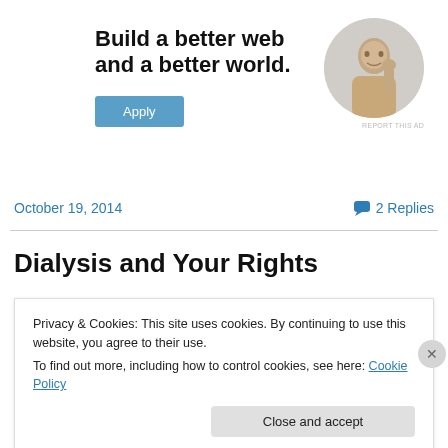[Figure (photo): Advertisement banner with bold text 'Build a better web and a better world.', an Apply button, and a circular photo of a man thinking at a desk.]
October 19, 2014
2 Replies
Dialysis and Your Rights
Privacy & Cookies: This site uses cookies. By continuing to use this website, you agree to their use.
To find out more, including how to control cookies, see here: Cookie Policy